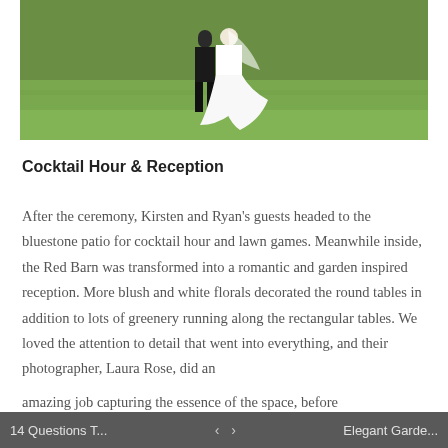[Figure (photo): Wedding photo showing a bride in a white dress and groom in dark suit walking on a green grass lawn]
Cocktail Hour & Reception
After the ceremony, Kirsten and Ryan's guests headed to the bluestone patio for cocktail hour and lawn games. Meanwhile inside, the Red Barn was transformed into a romantic and garden inspired reception. More blush and white florals decorated the round tables in addition to lots of greenery running along the rectangular tables. We loved the attention to detail that went into everything, and their photographer, Laura Rose, did an amazing job capturing the essence of the space, before
14 Questions T...   <   >   Elegant Garde...